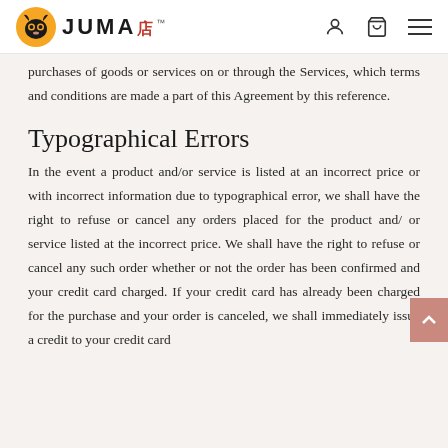JUMA [logo]
purchases of goods or services on or through the Services, which terms and conditions are made a part of this Agreement by this reference.
Typographical Errors
In the event a product and/or service is listed at an incorrect price or with incorrect information due to typographical error, we shall have the right to refuse or cancel any orders placed for the product and/ or service listed at the incorrect price. We shall have the right to refuse or cancel any such order whether or not the order has been confirmed and your credit card charged. If your credit card has already been charged for the purchase and your order is canceled, we shall immediately issue a credit to your credit card